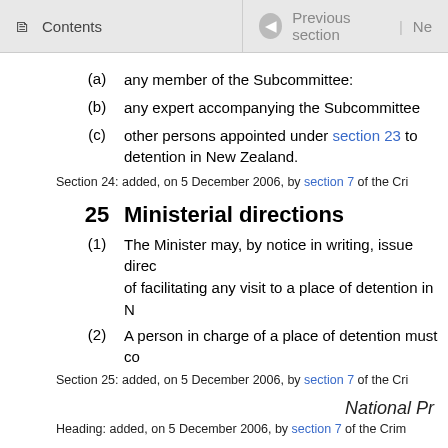Contents | Previous section | Ne
(a)   any member of the Subcommittee:
(b)   any expert accompanying the Subcommittee
(c)   other persons appointed under section 23 to detention in New Zealand.
Section 24: added, on 5 December 2006, by section 7 of the Cri
25  Ministerial directions
(1)   The Minister may, by notice in writing, issue direc of facilitating any visit to a place of detention in N
(2)   A person in charge of a place of detention must co
Section 25: added, on 5 December 2006, by section 7 of the Cri
National Pr
Heading: added, on 5 December 2006, by section 7 of the Crim
26  Designation of National Preventive Mec
(1)   In accordance with Article 17 of the Optional Proto Protocol is ratified by New Zealand, designate by n the Minister provide